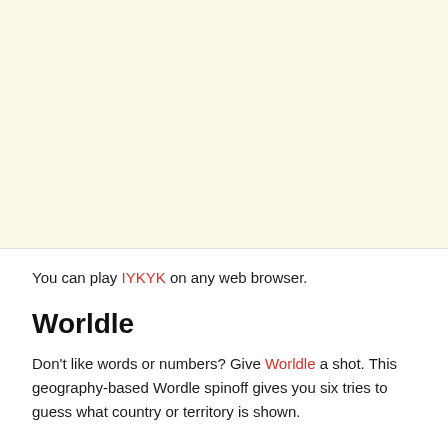[Figure (other): Large blank cream/beige colored area at the top of the page, serving as background or image placeholder.]
You can play IYKYK on any web browser.
Worldle
Don't like words or numbers? Give Worldle a shot. This geography-based Wordle spinoff gives you six tries to guess what country or territory is shown.